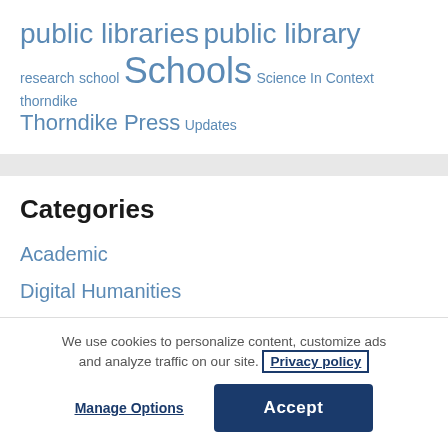public libraries public library research school Schools Science In Context thorndike Thorndike Press Updates
Categories
Academic
Digital Humanities
Events
We use cookies to personalize content, customize ads and analyze traffic on our site. Privacy policy
Manage Options  Accept